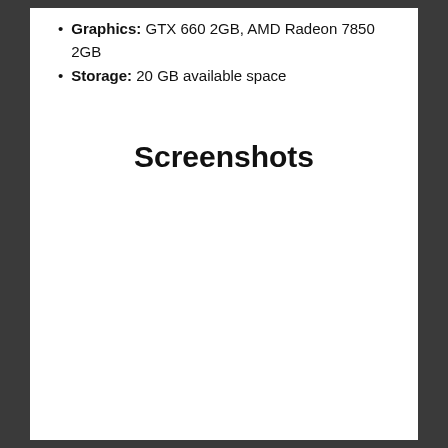Graphics: GTX 660 2GB, AMD Radeon 7850 2GB
Storage: 20 GB available space
Screenshots